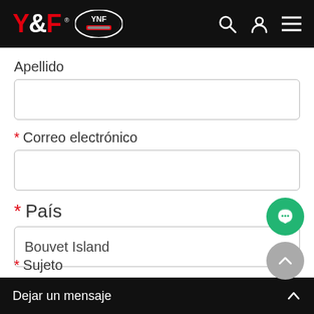Y&F YNF header navigation
Apellido
* Correo electrónico
* País
Bouvet Island
Teléfono
* Sujeto
Dejar un mensaje